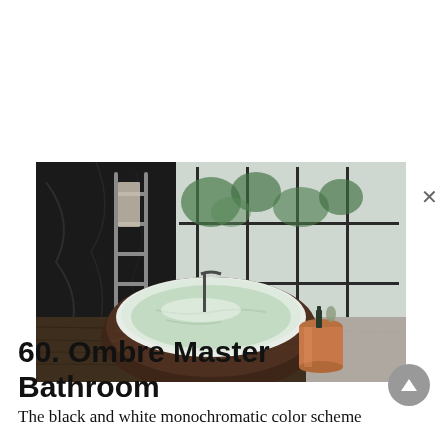[Figure (photo): A luxury bathroom featuring a large oval freestanding bathtub with dark wood exterior and white/green marble interior, filled with water. A metal towel ladder stands against a dark marble wall on the left. A copper metallic side table sits to the right of the tub. Large industrial-style windows with black frames look out to a garden. The floor is dark hardwood.]
60. Ombre Master Bathroom
The black and white monochromatic color scheme